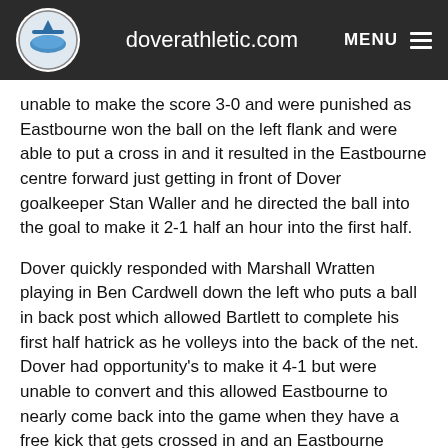doverathletic.com
unable to make the score 3-0 and were punished as Eastbourne won the ball on the left flank and were able to put a cross in and it resulted in the Eastbourne centre forward just getting in front of Dover goalkeeper Stan Waller and he directed the ball into the goal to make it 2-1 half an hour into the first half.
Dover quickly responded with Marshall Wratten playing in Ben Cardwell down the left who puts a ball in back post which allowed Bartlett to complete his first half hatrick as he volleys into the back of the net. Dover had opportunity's to make it 4-1 but were unable to convert and this allowed Eastbourne to nearly come back into the game when they have a free kick that gets crossed in and an Eastbourne player gets a free header that goes just wide, Dover go into the break up 3-1.
The second half started much like the first with Dover being